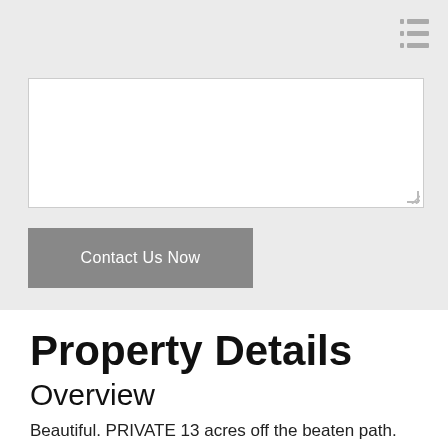[Figure (screenshot): Navigation menu icon (hamburger list icon) in top right corner of a gray header section]
[Figure (screenshot): White textarea input box with resize handle in bottom-right corner]
[Figure (screenshot): Gray 'Contact Us Now' button]
Property Details
Overview
Beautiful. PRIVATE 13 acres off the beaten path. The long driveway leads to the one of a kind Log home of your dreams, which features Brazilian hardwood floors,primary suite with balcony access, An open